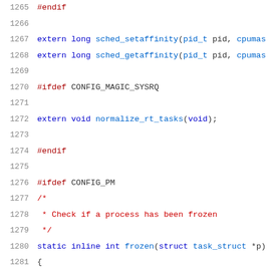[Figure (screenshot): Source code listing showing C/Linux kernel header file content, lines 1265-1286, with syntax highlighting. Features extern declarations for sched_setaffinity and sched_getaffinity, preprocessor directives for CONFIG_MAGIC_SYSRQ and CONFIG_PM, normalize_rt_tasks function declaration, and frozen() static inline function.]